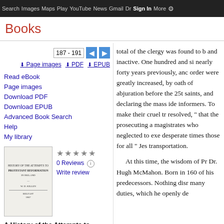Search  Images  Maps  Play  YouTube  News  Gmail  Drive  More  Sign In
Books
187 - 191
Page images
PDF
EPUB
Read eBook
Page images
Download PDF
Download EPUB
Advanced Book Search
Help
My library
0 Reviews  Write review
A History of the Attempts to Establish the Protestant Reformation in Ireland
total of the clergy was found to b and inactive. One hundred and si nearly forty years previously, anc order were greatly increased, by oath of abjuration before the 25t saints, and declaring the mass ide informers. To make their cruel tr resolved, " that the prosecuting a magistrates who neglected to exe desperate times those for all " Jes transportation.

At this time, the wisdom of Pr Dr. Hugh McMahon. Born in 160 of his predecessors. Nothing disr many duties, which he openly de